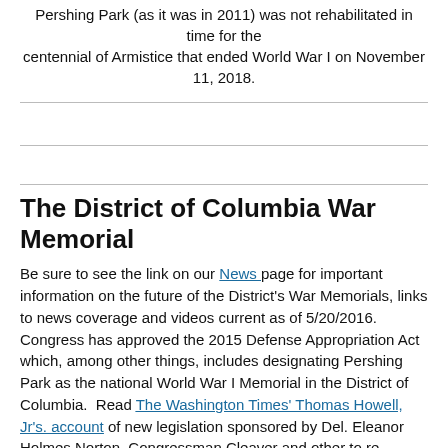Pershing Park (as it was in 2011) was not rehabilitated in time for the centennial of Armistice that ended World War I on November 11, 2018.
The District of Columbia War Memorial
Be sure to see the link on our News page for important information on the future of the District's War Memorials, links to news coverage and videos current as of 5/20/2016.  Congress has approved the 2015 Defense Appropriation Act which, among other things, includes designating Pershing Park as the national World War I Memorial in the District of Columbia.  Read The Washington Times' Thomas Howell, Jr's. account of new legislation sponsored by Del. Eleanor Holmes Norton, Congressman Cleaver and other to re-dedicate the Pershing Memorial as the National World War I Memorial in the District.  Read the text of HR 4489 here.  In addition, the World War I Commission -- at its forum and trade show held Sat., June 14, 2014 -- announced its support to re-dedicate and dedicate Pershing Park as a national World War I...